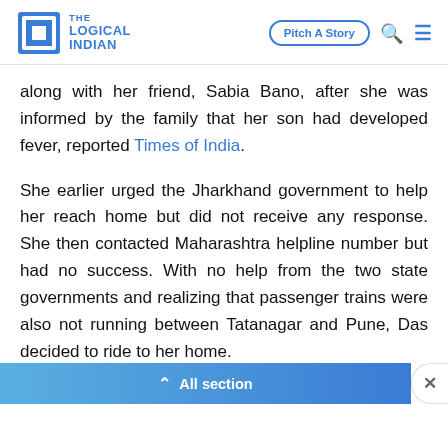THE LOGICAL INDIAN | Pitch A Story
along with her friend, Sabia Bano, after she was informed by the family that her son had developed fever, reported Times of India.
She earlier urged the Jharkhand government to help her reach home but did not receive any response. She then contacted Maharashtra helpline number but had no success. With no help from the two state governments and realizing that passenger trains were also not running between Tatanagar and Pune, Das decided to ride to her home.
⌃ All section  ×